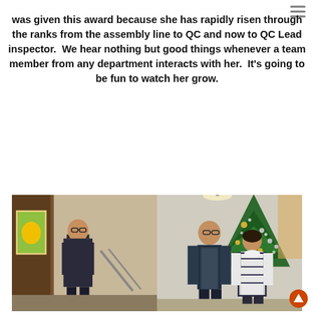was given this award because she has rapidly risen through the ranks from the assembly line to QC and now to QC Lead inspector.  We hear nothing but good things whenever a team member from any department interacts with her.  It's going to be fun to watch her grow.
[Figure (photo): Composite photo with two panels: left panel shows a person standing in an indoor hallway with artwork on the wall; right panel shows two people standing in front of a decorated Christmas tree in what appears to be a lobby.]